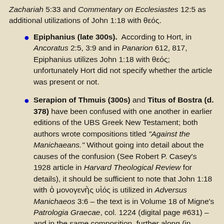Zachariah 5:33 and Commentary on Ecclesiastes 12:5 as additional utilizations of John 1:18 with θεός.
Epiphanius (late 300s). According to Hort, in Ancoratus 2:5, 3:9 and in Panarion 612, 817, Epiphanius utilizes John 1:18 with θεός; unfortunately Hort did not specify whether the article was present or not.
Serapion of Thmuis (300s) and Titus of Bostra (d. 378) have been confused with one another in earlier editions of the UBS Greek New Testament; both authors wrote compositions titled "Against the Manichaeans." Without going into detail about the causes of the confusion (See Robert P. Casey's 1928 article in Harvard Theological Review for details), it should be sufficient to note that John 1:18 with ὁ μονογενὴς υἱός is utilized in Adversus Manichaeos 3:6 – the text is in Volume 18 of Migne's Patrologia Graecae, col. 1224 (digital page #631) – and in the same composition, further along (in column 1240, on digital page #639), the author quotes John 1:18 with the reading "ὁ Μονογενὴς Υἱός Θεός," and the author describes this as a statement from the Gospel. (A Syriac version of